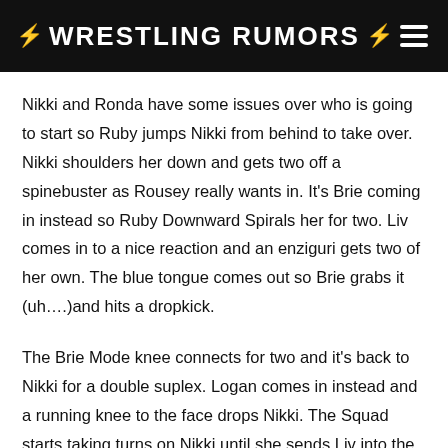⚡ WRESTLING RUMORS ⚡
Nikki and Ronda have some issues over who is going to start so Ruby jumps Nikki from behind to take over. Nikki shoulders her down and gets two off a spinebuster as Rousey really wants in. It's Brie coming in instead so Ruby Downward Spirals her for two. Liv comes in to a nice reaction and an enziguri gets two of her own. The blue tongue comes out so Brie grabs it (uh….)and hits a dropkick.
The Brie Mode knee connects for two and it's back to Nikki for a double suplex. Logan comes in instead and a running knee to the face drops Nikki. The Squad starts taking turns on Nikki until she sends Liv into the corner for a breather. That's not enough for the hot tag though as Ruby comes back in and drops Nikki on the back of her head for two. Logan's